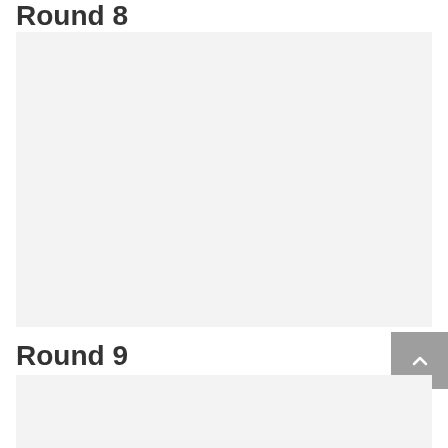Round 8
[Figure (other): Large light gray placeholder image box for Round 8 content]
Round 9
[Figure (other): Light gray placeholder image box for Round 9 content (partially visible at bottom)]